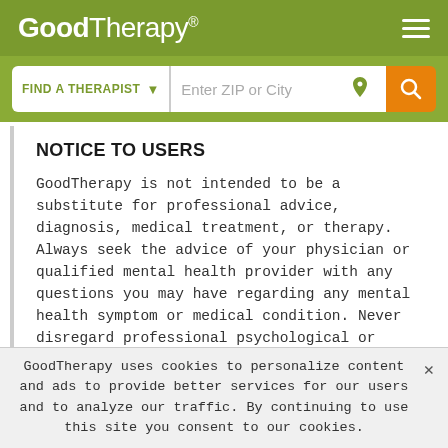GoodTherapy®
[Figure (screenshot): GoodTherapy website header with logo, hamburger menu, and Find a Therapist search bar with ZIP or City input and orange search button]
NOTICE TO USERS
GoodTherapy is not intended to be a substitute for professional advice, diagnosis, medical treatment, or therapy. Always seek the advice of your physician or qualified mental health provider with any questions you may have regarding any mental health symptom or medical condition. Never disregard professional psychological or medical advice nor delay in seeking professional advice or treatment because of something
GoodTherapy uses cookies to personalize content and ads to provide better services for our users and to analyze our traffic. By continuing to use this site you consent to our cookies.